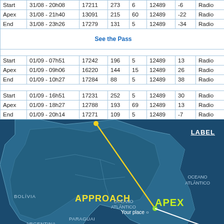|  | Date/Time | Range | Az | El | Freq | Doppler | Mode |
| --- | --- | --- | --- | --- | --- | --- | --- |
| Start | 31/08 - 20h08 | 17211 | 273 | 6 | 12489 | -6 | Radio |
| Apex | 31/08 - 21h40 | 13091 | 215 | 60 | 12489 | -22 | Radio |
| End | 31/08 - 23h26 | 17279 | 131 | 5 | 12489 | -34 | Radio |
| See the Pass |  |  |  |  |  |  |  |
| Start | 01/09 - 07h51 | 17242 | 196 | 5 | 12489 | 13 | Radio |
| Apex | 01/09 - 09h06 | 16220 | 144 | 15 | 12489 | 26 | Radio |
| End | 01/09 - 10h27 | 17284 | 88 | 5 | 12489 | 38 | Radio |
| Start | 01/09 - 16h51 | 17231 | 252 | 5 | 12489 | 30 | Radio |
| Apex | 01/09 - 18h27 | 12788 | 193 | 69 | 12489 | 13 | Radio |
| End | 01/09 - 20h14 | 17271 | 109 | 5 | 12489 | -7 | Radio |
[Figure (map): Satellite pass map over South America (Brazil/Paraguay/Bolivia/Argentina area) showing approach trajectory in yellow and apex point in green, with labels APPROACH, APEX, Your place, country names, and OCEANO ATLÂNTICO.]